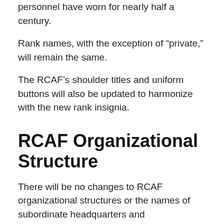personnel have worn for nearly half a century.
Rank names, with the exception of “private,” will remain the same.
The RCAF’s shoulder titles and uniform buttons will also be updated to harmonize with the new rank insignia.
RCAF Organizational Structure
There will be no changes to RCAF organizational structures or the names of subordinate headquarters and organizations.